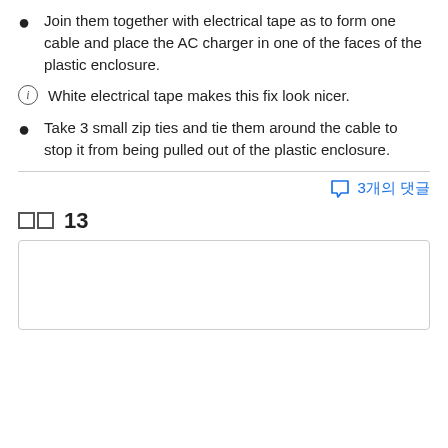Join them together with electrical tape as to form one cable and place the AC charger in one of the faces of the plastic enclosure.
ⓘ White electrical tape makes this fix look nicer.
Take 3 small zip ties and tie them around the cable to stop it from being pulled out of the plastic enclosure.
3 comments
단계 13
[Figure (photo): Empty bordered image box for step 13]